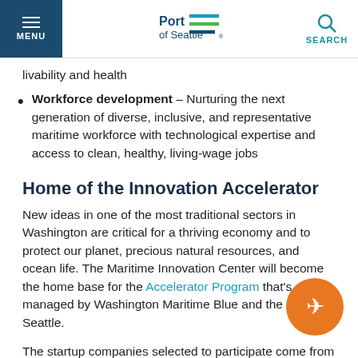MENU | Port of Seattle | SEARCH
livability and health
Workforce development – Nurturing the next generation of diverse, inclusive, and representative maritime workforce with technological expertise and access to clean, healthy, living-wage jobs
Home of the Innovation Accelerator
New ideas in one of the most traditional sectors in Washington are critical for a thriving economy and to protect our planet, precious natural resources, and ocean life. The Maritime Innovation Center will become the home base for the Accelerator Program that's managed by Washington Maritime Blue and the Port of Seattle.
The startup companies selected to participate come from various sectors, such as augmented reality, machine learning, artificial intelligence, software as a service (SaaS), and compliance. Based on 2020's intentional diversity metrics, 45 percent of companies are founded by women.